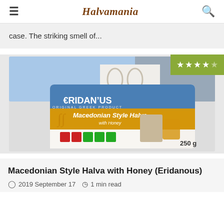Halvamania
case. The striking smell of...
[Figure (photo): Eridanous Macedonian Style Halva with Honey 250g product package photo, showing Greek scenery background, with a 4-star rating badge overlay in green]
Macedonian Style Halva with Honey (Eridanous)
2019 September 17   1 min read